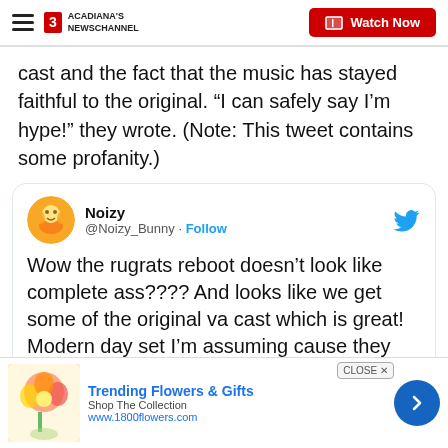ACADIANA'S NEWSCHANNEL | Watch Now
cast and the fact that the music has stayed faithful to the original. “I can safely say I’m hype!” they wrote. (Note: This tweet contains some profanity.)
[Figure (screenshot): Embedded tweet from @Noizy_Bunny saying: Wow the rugrats reboot doesn’t look like complete ass???? And looks like we get some of the original va cast which is great! Modern day set I’m assuming cause they have flat screen TVs. Music is the same or...]
[Figure (infographic): Advertisement banner for 1800flowers.com: Trending Flowers & Gifts, Shop The Collection, www.1800flowers.com]